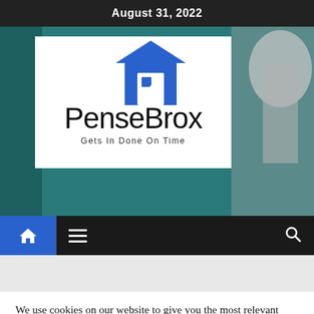August 31, 2022
[Figure (logo): PenseBrox logo with house icon and tagline 'Gets In Done On Time' on white background over teal/dark hero image]
We use cookies on our website to give you the most relevant experience by remembering your preferences and repeat visits. By clicking “Accept All”, you consent to the use of ALL the cookies. However, you may visit "Cookie Settings" to provide a controlled consent.